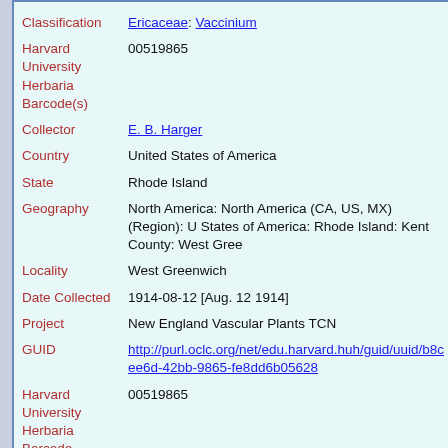| Field | Value |
| --- | --- |
| Classification | Ericaceae: Vaccinium |
| Harvard University Herbaria Barcode(s) | 00519865 |
| Collector | E. B. Harger |
| Country | United States of America |
| State | Rhode Island |
| Geography | North America: North America (CA, US, MX) (Region): United States of America: Rhode Island: Kent County: West Greenwich |
| Locality | West Greenwich |
| Date Collected | 1914-08-12 [Aug. 12 1914] |
| Project | New England Vascular Plants TCN |
| GUID | http://purl.oclc.org/net/edu.harvard.huh/guid/uuid/b8c…ee6d-42bb-9865-fe8dd6b05628 |
| Harvard University Herbaria Barcode | 00519865 |
| Herbarium | NEBC |
| Family | Ericaceae |